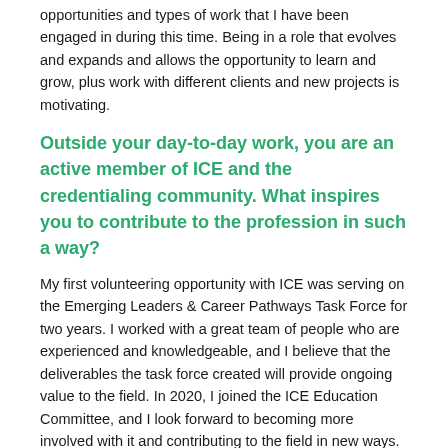opportunities and types of work that I have been engaged in during this time. Being in a role that evolves and expands and allows the opportunity to learn and grow, plus work with different clients and new projects is motivating.
Outside your day-to-day work, you are an active member of ICE and the credentialing community. What inspires you to contribute to the profession in such a way?
My first volunteering opportunity with ICE was serving on the Emerging Leaders & Career Pathways Task Force for two years. I worked with a great team of people who are experienced and knowledgeable, and I believe that the deliverables the task force created will provide ongoing value to the field. In 2020, I joined the ICE Education Committee, and I look forward to becoming more involved with it and contributing to the field in new ways.
Regarding what inspires me to contribute to the